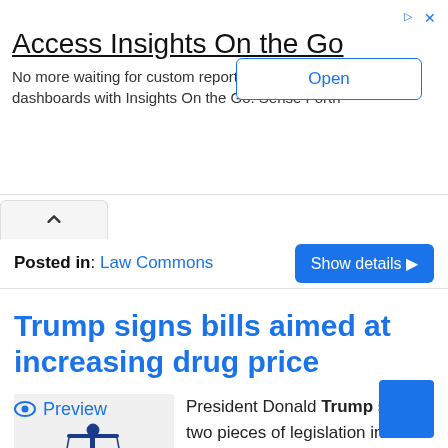[Figure (screenshot): Advertisement banner for 'Access Insights On the Go' with an 'Open' button on the right]
Posted in: Law Commons
Trump signs bills aimed at increasing drug price
[Figure (illustration): Legal illustration with scales of justice, gavel, law books, and 'LAW' label in blue and green]
President Donald Trump signed two pieces of legislation into law on Wednesday that aim to inform consumers about drug prices.. Both measures, the Know the Lowest Price Act and the Patient Right to
Preview